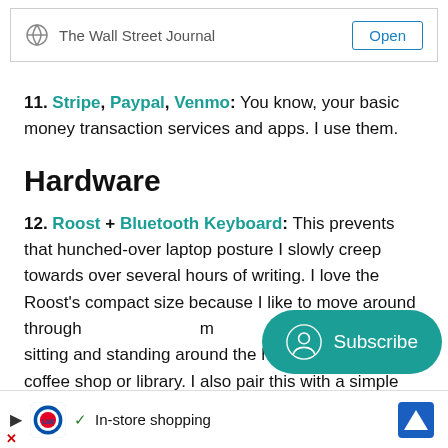The Wall Street Journal  Open
11. Stripe, Paypal, Venmo: You know, your basic money transaction services and apps. I use them.
Hardware
12. Roost + Bluetooth Keyboard: This prevents that hunched-over laptop posture I slowly creep towards over several hours of writing. I love the Roost's compact size because I like to move around throughout the day from sitting and standing around the house, going to the coffee shop or library. I also pair this with a simple
In-store shopping